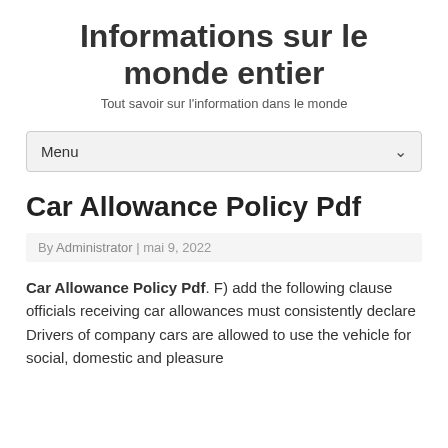Informations sur le monde entier
Tout savoir sur l'information dans le monde
Menu
Car Allowance Policy Pdf
By Administrator | mai 9, 2022
Car Allowance Policy Pdf. F) add the following clause officials receiving car allowances must consistently declare Drivers of company cars are allowed to use the vehicle for social, domestic and pleasure